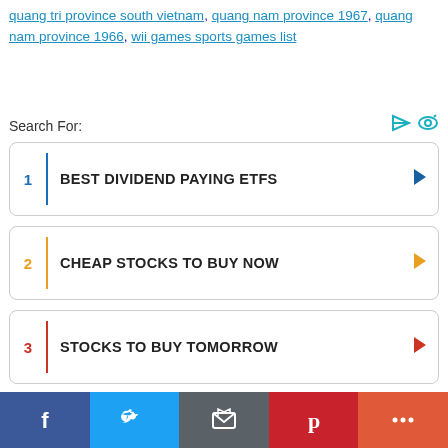quang tri province south vietnam, quang nam province 1967, quang nam province 1966, wii games sports games list
Search For:
1 BEST DIVIDEND PAYING ETFS
2 CHEAP STOCKS TO BUY NOW
3 STOCKS TO BUY TOMORROW
Facebook, Twitter, Email, Pinterest, More